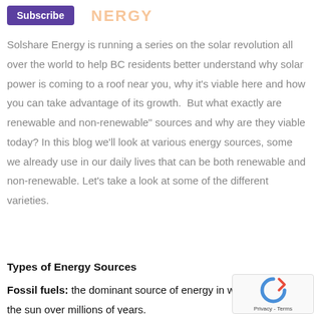[Figure (logo): Subscribe button and ENERGY logo/text in orange at the top of the page]
Solshare Energy is running a series on the solar revolution all over the world to help BC residents better understand why solar power is coming to a roof near you, why it’s viable here and how you can take advantage of its growth.  But what exactly are renewable and non-renewable” sources and why are they viable today? In this blog we’ll look at various energy sources, some we already use in our daily lives that can be both renewable and non-renewable. Let’s take a look at some of the different varieties.
Types of Energy Sources
Fossil fuels: the dominant source of energy in world, formed by the sun over millions of years.